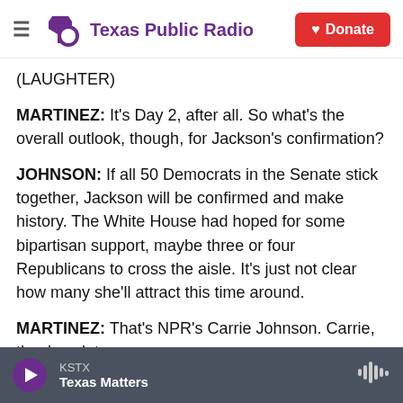Texas Public Radio | Donate
(LAUGHTER)
MARTINEZ: It's Day 2, after all. So what's the overall outlook, though, for Jackson's confirmation?
JOHNSON: If all 50 Democrats in the Senate stick together, Jackson will be confirmed and make history. The White House had hoped for some bipartisan support, maybe three or four Republicans to cross the aisle. It's just not clear how many she'll attract this time around.
MARTINEZ: That's NPR's Carrie Johnson. Carrie, thanks a lot.
KSTX — Texas Matters